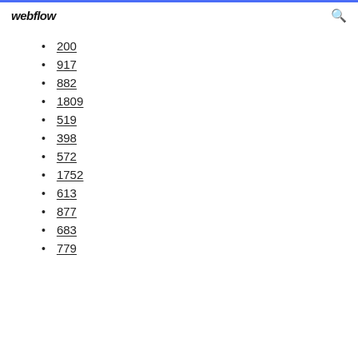webflow
200
917
882
1809
519
398
572
1752
613
877
683
779